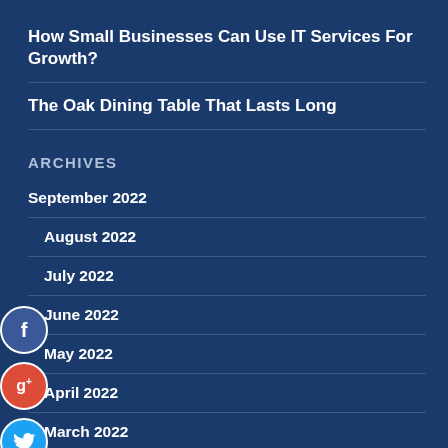How Small Businesses Can Use IT Services For Growth?
The Oak Dining Table That Lasts Long
ARCHIVES
September 2022
August 2022
July 2022
June 2022
May 2022
April 2022
March 2022